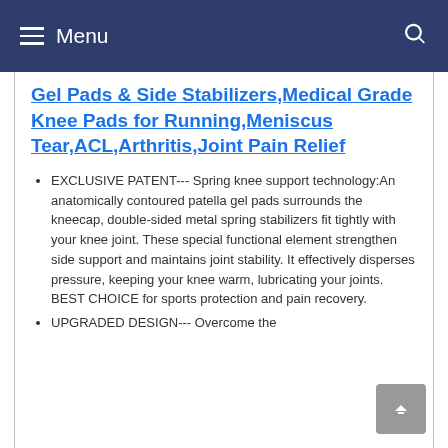≡ Menu
Gel Pads & Side Stabilizers,Medical Grade Knee Pads for Running,Meniscus Tear,ACL,Arthritis,Joint Pain Relief
EXCLUSIVE PATENT--- Spring knee support technology:An anatomically contoured patella gel pads surrounds the kneecap, double-sided metal spring stabilizers fit tightly with your knee joint. These special functional element strengthen side support and maintains joint stability. It effectively disperses pressure, keeping your knee warm, lubricating your joints. BEST CHOICE for sports protection and pain recovery.
UPGRADED DESIGN--- Overcome the